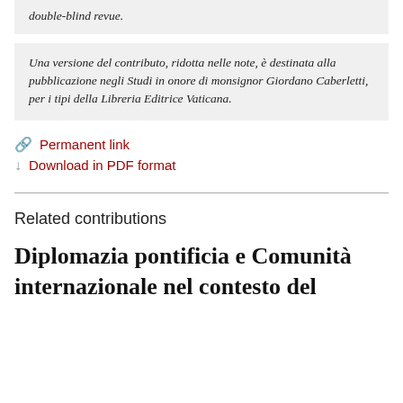double-blind revue.
Una versione del contributo, ridotta nelle note, è destinata alla pubblicazione negli Studi in onore di monsignor Giordano Caberletti, per i tipi della Libreria Editrice Vaticana.
Permanent link
Download in PDF format
Related contributions
Diplomazia pontificia e Comunità internazionale nel contesto del